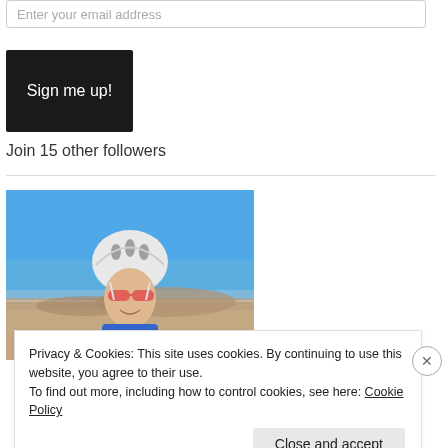Enter your email address
Sign me up!
Join 15 other followers
[Figure (photo): A cyclist wearing a white helmet and red sunglasses, smiling, photographed outdoors against a blue sky with desert landscape in the background, wearing a blue jersey.]
Privacy & Cookies: This site uses cookies. By continuing to use this website, you agree to their use.
To find out more, including how to control cookies, see here: Cookie Policy
Close and accept